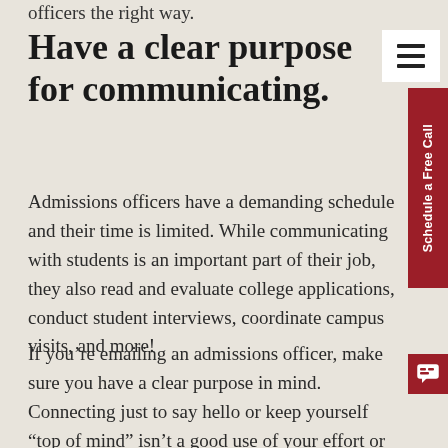officers the right way.
Have a clear purpose for communicating.
Admissions officers have a demanding schedule and their time is limited. While communicating with students is an important part of their job, they also read and evaluate college applications, conduct student interviews, coordinate campus visits, and more!
If you're emailing an admissions officer, make sure you have a clear purpose in mind. Connecting just to say hello or keep yourself “top of mind” isn’t a good use of your effort or the officer’s time.